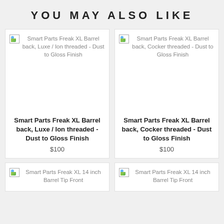YOU MAY ALSO LIKE
[Figure (photo): Broken image placeholder for Smart Parts Freak XL Barrel back, Luxe / Ion threaded - Dust to Gloss Finish]
Smart Parts Freak XL Barrel back, Luxe / Ion threaded - Dust to Gloss Finish
$100
[Figure (photo): Broken image placeholder for Smart Parts Freak XL Barrel back, Cocker threaded - Dust to Gloss Finish]
Smart Parts Freak XL Barrel back, Cocker threaded - Dust to Gloss Finish
$100
[Figure (photo): Broken image placeholder for Smart Parts Freak XL 14 inch Barrel Tip Front]
Smart Parts Freak XL 14 inch Barrel Tip Front
[Figure (photo): Broken image placeholder for Smart Parts Freak XL 14 inch Barrel Tip Front]
Smart Parts Freak XL 14 inch Barrel Tip Front